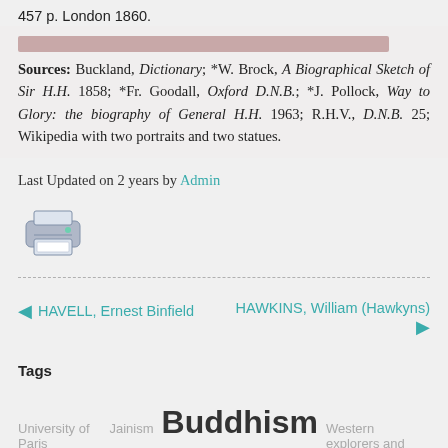457 p. London 1860.
Sources: Buckland, Dictionary; *W. Brock, A Biographical Sketch of Sir H.H. 1858; *Fr. Goodall, Oxford D.N.B.; *J. Pollock, Way to Glory: the biography of General H.H. 1963; R.H.V., D.N.B. 25; Wikipedia with two portraits and two statues.
Last Updated on 2 years by Admin
[Figure (illustration): Printer icon]
HAVELL, Ernest Binfield
HAWKINS, William (Hawkyns)
Tags
University of Paris Jainism Buddhism Western explorers and